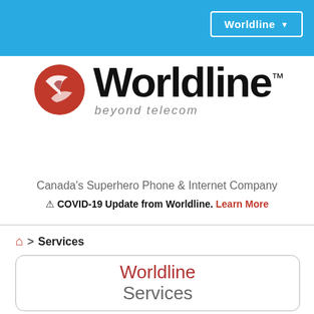Worldline
[Figure (logo): Worldline logo with red swoosh icon and 'Worldline beyond telecom' wordmark]
Canada's Superhero Phone & Internet Company
⚠ COVID-19 Update from Worldline. Learn More
🏠 > Services
Worldline Services